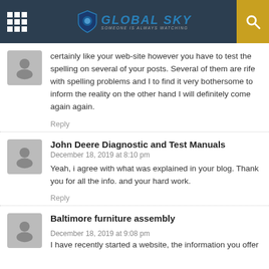GLOBAL SKY — SOMEONE IS ALWAYS WATCHING
certainly like your web-site however you have to test the spelling on several of your posts. Several of them are rife with spelling problems and I to find it very bothersome to inform the reality on the other hand I will definitely come again again.
Reply
John Deere Diagnostic and Test Manuals
December 18, 2019 at 8:10 pm
Yeah, i agree with what was explained in your blog. Thank you for all the info. and your hard work.
Reply
Baltimore furniture assembly
December 18, 2019 at 9:08 pm
I have recently started a website, the information you offer